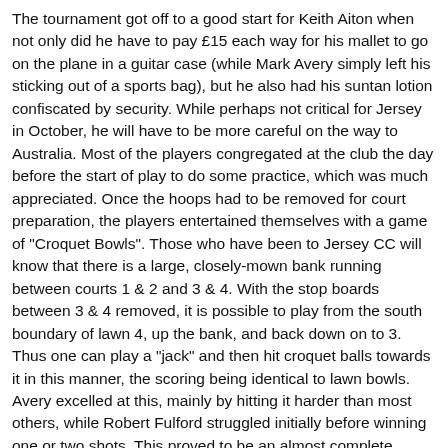The tournament got off to a good start for Keith Aiton when not only did he have to pay £15 each way for his mallet to go on the plane in a guitar case (while Mark Avery simply left his sticking out of a sports bag), but he also had his suntan lotion confiscated by security. While perhaps not critical for Jersey in October, he will have to be more careful on the way to Australia. Most of the players congregated at the club the day before the start of play to do some practice, which was much appreciated. Once the hoops had to be removed for court preparation, the players entertained themselves with a game of "Croquet Bowls". Those who have been to Jersey CC will know that there is a large, closely-mown bank running between courts 1 & 2 and 3 & 4. With the stop boards between 3 & 4 removed, it is possible to play from the south boundary of lawn 4, up the bank, and back down on to 3. Thus one can play a "jack" and then hit croquet balls towards it in this manner, the scoring being identical to lawn bowls. Avery excelled at this, mainly by hitting it harder than most others, while Robert Fulford struggled initially before winning one or two shots. This proved to be an almost complete reversal of the result of the actual croquet.
Dinner that evening provided further entertainment when it was revealed that David Maugham had offered odds of 2-1